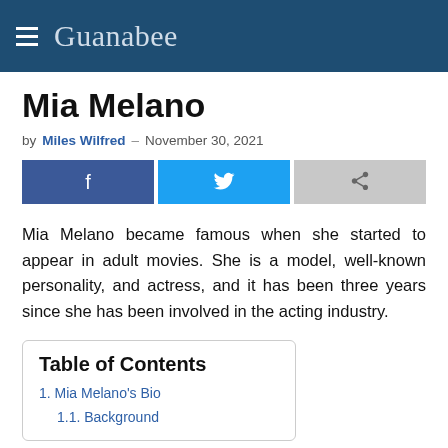Guanabee
Mia Melano
by Miles Wilfred — November 30, 2021
[Figure (other): Social share buttons: Facebook, Twitter, and Share]
Mia Melano became famous when she started to appear in adult movies. She is a model, well-known personality, and actress, and it has been three years since she has been involved in the acting industry.
Table of Contents
1. Mia Melano's Bio
1.1. Background